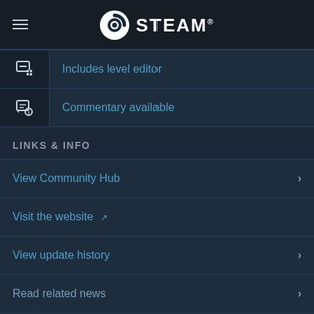STEAM
Includes level editor
Commentary available
LINKS & INFO
View Community Hub
Visit the website
View update history
Read related news
READ MORE
LANGUAGES